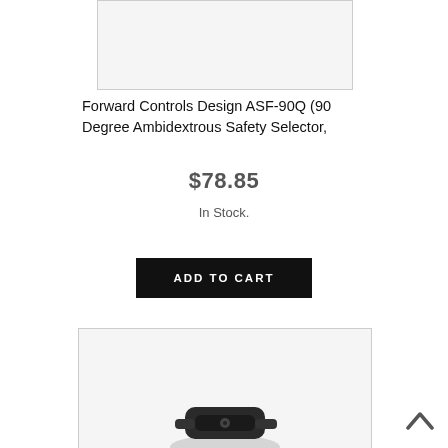[Figure (photo): Product image placeholder (top portion, cropped) — white/light grey rectangle]
Forward Controls Design ASF-90Q (90 Degree Ambidextrous Safety Selector,
$78.85
In Stock.
ADD TO CART
[Figure (photo): Product photo of a black ambidextrous safety selector component, partially visible at bottom of page]